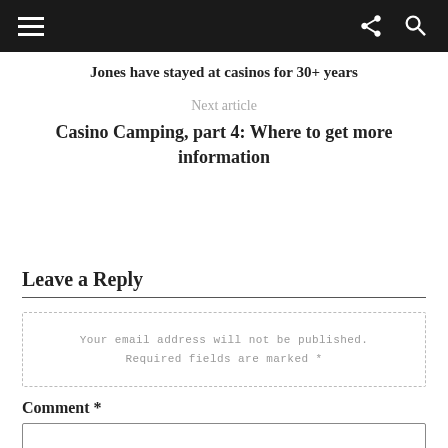Navigation bar with hamburger menu, share icon, and search icon
Jones have stayed at casinos for 30+ years
Next article
Casino Camping, part 4: Where to get more information
Leave a Reply
Your email address will not be published. Required fields are marked *
Comment *